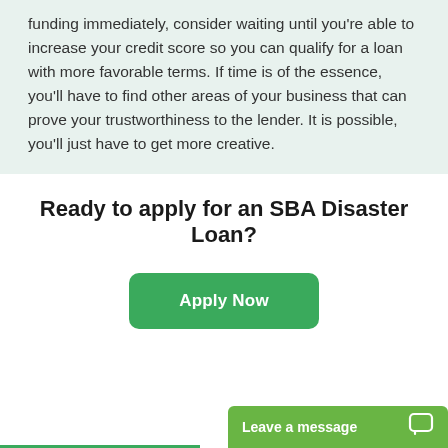funding immediately, consider waiting until you're able to increase your credit score so you can qualify for a loan with more favorable terms. If time is of the essence, you'll have to find other areas of your business that can prove your trustworthiness to the lender. It is possible, you'll just have to get more creative.
Ready to apply for an SBA Disaster Loan?
Apply Now
Leave a message